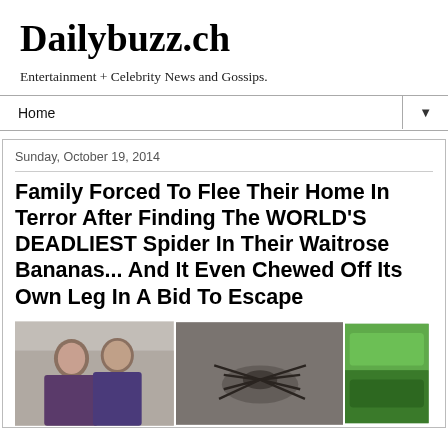Dailybuzz.ch
Entertainment + Celebrity News and Gossips.
Home ▼
Sunday, October 19, 2014
Family Forced To Flee Their Home In Terror After Finding The WORLD'S DEADLIEST Spider In Their Waitrose Bananas... And It Even Chewed Off Its Own Leg In A Bid To Escape
[Figure (photo): Three photos: a couple (woman with dark hair, man with shaved head in purple shirt), a close-up of a spider on a surface, and a green object close-up]